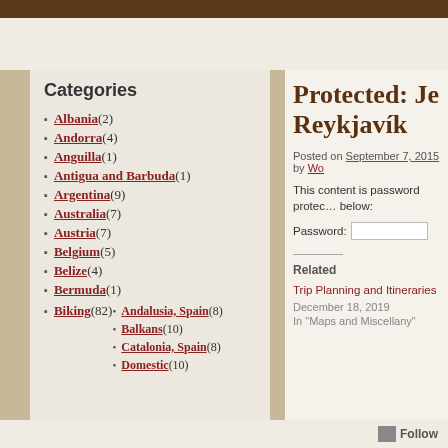Categories
Albania (2)
Andorra (4)
Anguilla (1)
Antigua and Barbuda (1)
Argentina (9)
Australia (7)
Austria (7)
Belgium (5)
Belize (4)
Bermuda (1)
Biking (82)
Andalusia, Spain (8)
Balkans (10)
Catalonia, Spain (8)
Domestic (10)
Protected: Je... Reykjavík
Posted on September 7, 2015 by Wo...
This content is password protec... below:
Password:
Related
Trip Planning and Itineraries
December 18, 2019
In "Maps and Miscellany"